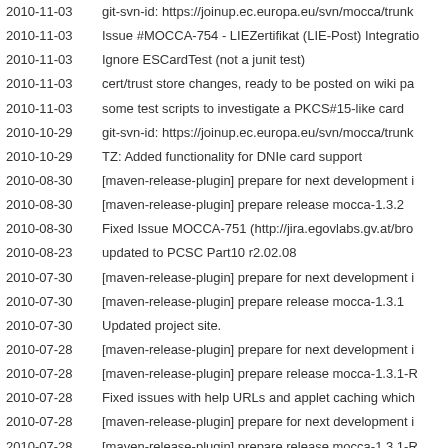| Date | Message |
| --- | --- |
| 2010-11-03 | git-svn-id: https://joinup.ec.europa.eu/svn/mocca/trunk |
| 2010-11-03 | Issue #MOCCA-754 - LIEZertifikat (LIE-Post) Integratio |
| 2010-11-03 | Ignore ESCardTest (not a junit test) |
| 2010-11-03 | cert/trust store changes, ready to be posted on wiki pa |
| 2010-11-03 | some test scripts to investigate a PKCS#15-like card |
| 2010-10-29 | git-svn-id: https://joinup.ec.europa.eu/svn/mocca/trunk |
| 2010-10-29 | TZ: Added functionality for DNIe card support |
| 2010-08-30 | [maven-release-plugin] prepare for next development i |
| 2010-08-30 | [maven-release-plugin] prepare release mocca-1.3.2 |
| 2010-08-30 | Fixed Issue MOCCA-751 (http://jira.egovlabs.gv.at/bro |
| 2010-08-23 | updated to PCSC Part10 r2.02.08 |
| 2010-07-30 | [maven-release-plugin] prepare for next development i |
| 2010-07-30 | [maven-release-plugin] prepare release mocca-1.3.1 |
| 2010-07-30 | Updated project site. |
| 2010-07-28 | [maven-release-plugin] prepare for next development i |
| 2010-07-28 | [maven-release-plugin] prepare release mocca-1.3.1-R |
| 2010-07-28 | Fixed issues with help URLs and applet caching which |
| 2010-07-28 | [maven-release-plugin] prepare for next development i |
| 2010-07-28 | [maven-release-plugin] prepare release mocca-1.3.1-R |
| 2010-07-28 | viewer dimension 600x480 for new XSLT (XHTML) styl |
| 2010-07-28 | quovadis card resource bundle |
| 2010-07-28 | quovadis comments |
| 2010-07-28 | Resolved issue [#MOCCA-745] (Two simultaneous req |
| 2010-07-20 | Added project skeleton smccTest for smart card and te |
| 2010-07-20 | Issue #MOCCA-746 - QuoVadis SuisseID integration |
| 2010-07-20 | log the id. |